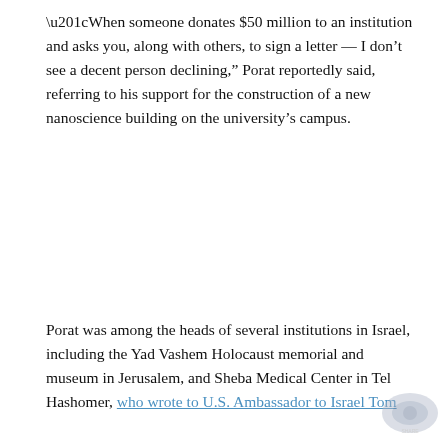“When someone donates $50 million to an institution and asks you, along with others, to sign a letter — I don’t see a decent person declining,” Porat reportedly said, referring to his support for the construction of a new nanoscience building on the university’s campus.
Porat was among the heads of several institutions in Israel, including the Yad Vashem Holocaust memorial and museum in Jerusalem, and Sheba Medical Center in Tel Hashomer, who wrote to U.S. Ambassador to Israel Tom Nides in defense of Abramovich as Russia prepared to invade Ukraine and the talk of sanctions against Kremlin-linked oligarchs intensified.
PHILADELPHIA JEWISH EXPONENT IS HERE FOR YOU
Your voluntary contribution supports our efforts to deliver content that engages and helps strengthen the Jewish community in the Philadelphia area.
CONTRIBUTE
Porat was said that the letter’s warning that sanctions Abramovich would harm these institutions has come t according to Haaretz.